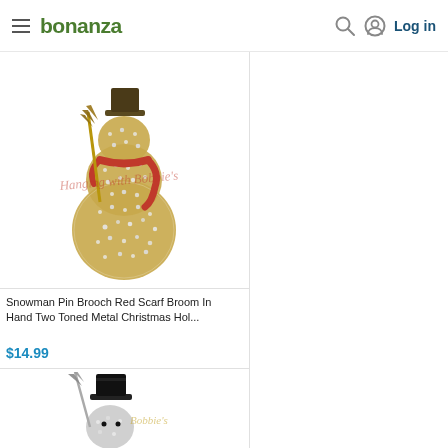bonanza — Log in
[Figure (photo): Snowman pin brooch with rhinestones, red scarf, broom in hand, gold-toned metal, on white background with watermark 'Hanging with Bobbie's']
Snowman Pin Brooch Red Scarf Broom In Hand Two Toned Metal Christmas Hol...
$14.99
[Figure (photo): Second snowman pin brooch, black top hat, rhinestones, silver-toned metal, partially visible, with watermark 'Bobbie's']